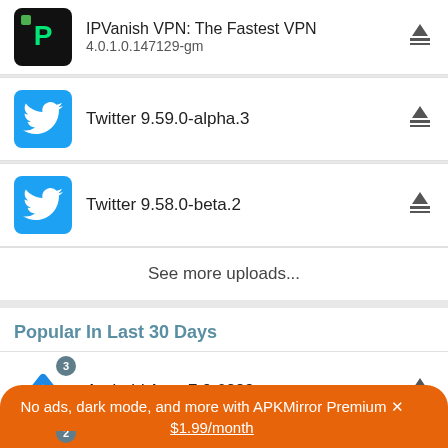IPVanish VPN: The Fastest VPN 4.0.1.0.147129-gm
Twitter 9.59.0-alpha.3
Twitter 9.58.0-beta.2
See more uploads...
Popular In Last 30 Days
Android Auto 7.9.6229 51K
No ads, dark mode, and more with APKMirror Premium ✕ $1.99/month